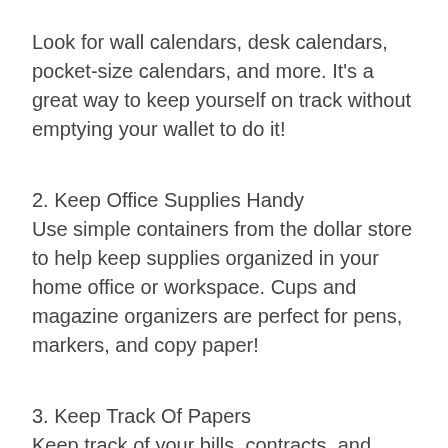Look for wall calendars, desk calendars, pocket-size calendars, and more. It's a great way to keep yourself on track without emptying your wallet to do it!
2. Keep Office Supplies Handy
Use simple containers from the dollar store to help keep supplies organized in your home office or workspace. Cups and magazine organizers are perfect for pens, markers, and copy paper!
3. Keep Track Of Papers
Keep track of your bills, contracts, and other important documents with portfolios, folders, and envelopes from the dollar store. I even found a binder